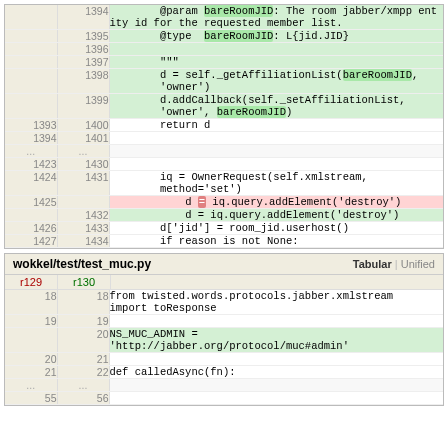[Figure (screenshot): Code diff block (top) showing changes in a Python file, with line numbers for old and new versions, green added lines and red deleted lines, monospace code]
[Figure (screenshot): Code diff block (bottom) for wokkel/test/test_muc.py showing Tabular/Unified view tabs, with added and unchanged lines in Python code]